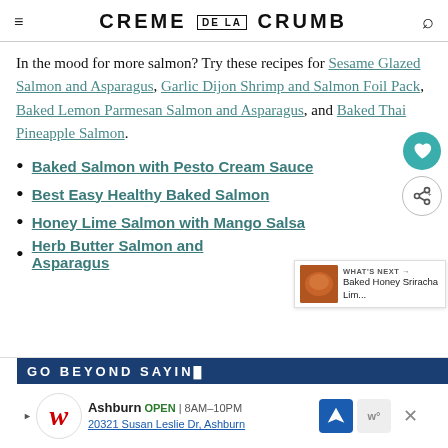CREME DE LA CRUMB
In the mood for more salmon? Try these recipes for Sesame Glazed Salmon and Asparagus, Garlic Dijon Shrimp and Salmon Foil Pack, Baked Lemon Parmesan Salmon and Asparagus, and Baked Thai Pineapple Salmon.
Baked Salmon with Pesto Cream Sauce
Best Easy Healthy Baked Salmon
Honey Lime Salmon with Mango Salsa
Herb Butter Salmon and Asparagus
[Figure (screenshot): Advertisement banner: GO BEYOND SAVIN with Walgreens ad showing Ashburn OPEN 8AM-10PM, 20321 Susan Leslie Dr, Ashburn]